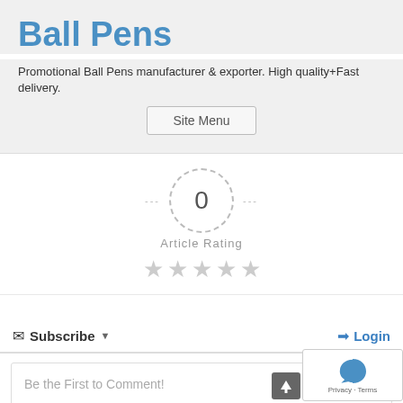Ball Pens
Promotional Ball Pens manufacturer & exporter. High quality+Fast delivery.
Site Menu
[Figure (other): Article rating widget showing 0 score in a dashed circle with dashes on either side, label 'Article Rating', and five empty/grey stars below]
Subscribe  Login
Be the First to Comment!